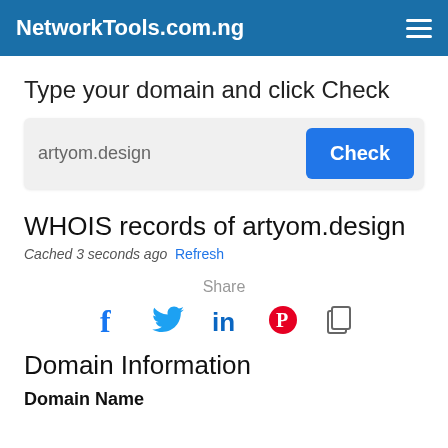NetworkTools.com.ng
Type your domain and click Check
artyom.design
WHOIS records of artyom.design
Cached 3 seconds ago  Refresh
Share
[Figure (infographic): Social share icons: Facebook (f), Twitter (bird), LinkedIn (in), Pinterest (P circle), Copy link (document icon)]
Domain Information
Domain Name